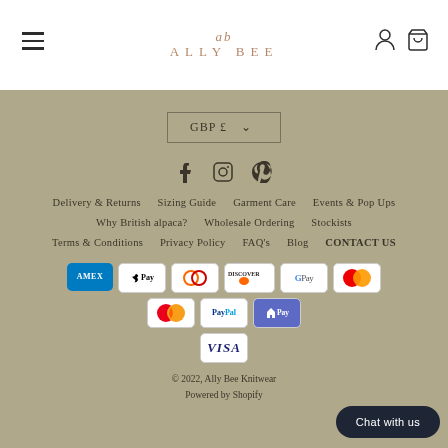[Figure (logo): Ally Bee Knitwear logo with 'ab' script above 'ALLY BEE' text in rose/tan color]
[Figure (screenshot): Website footer with currency selector (GBP £), social icons (Facebook, Instagram, Pinterest), navigation links, payment method icons, and copyright text]
© 2022, Ally Bee Knitwear
Powered by Shopify